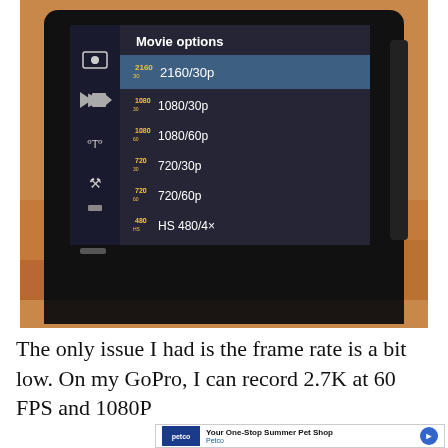[Figure (photo): Photo of a camera LCD screen showing 'Movie options' menu with resolution choices: 2160/30p (selected/highlighted), 1080/30p, 1080/60p, 720/30p, 720/60p, HS 480/4x. Left sidebar shows camera mode icons. Camera is sitting on an orange cloth surface.]
The only issue I had is the frame rate is a bit low. On my GoPro, I can record 2.7K at 60 FPS and 1080P at 120 FPS. With this...
[Figure (screenshot): Advertisement banner for Petco: 'Your One-Stop Summer Pet Shop' with Petco logo and navigation arrow. Below are play and close (X) controls.]